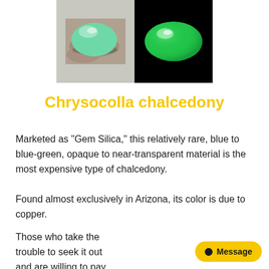[Figure (photo): Two images of green gemstones side by side: left shows a light mint-green cabochon on a rocky surface, right shows a brighter green oval cabochon on a black background.]
Chrysocolla chalcedony
Marketed as "Gem Silica," this relatively rare, blue to blue-green, opaque to near-transparent material is the most expensive type of chalcedony.
Found almost exclusively in Arizona, its color is due to copper.
Those who take the trouble to seek it out and are willing to pay the price are rewarded with glorious